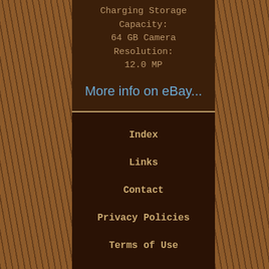Charging Storage Capacity: 64 GB Camera Resolution: 12.0 MP
More info on eBay...
Index
Links
Contact
Privacy Policies
Terms of Use